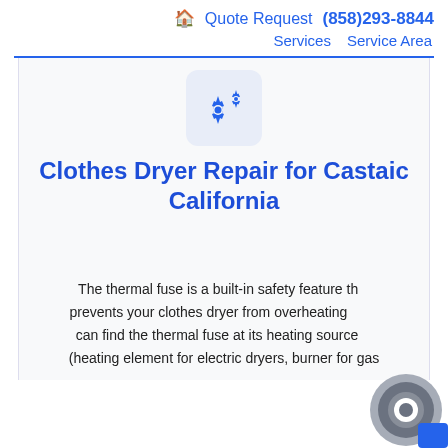🏠 Quote Request (858)293-8844 Services Service Area
[Figure (illustration): Gear/settings icon inside a light blue rounded square box]
Clothes Dryer Repair for Castaic California
The thermal fuse is a built-in safety feature that prevents your clothes dryer from overheating. You can find the thermal fuse at its heating source (heating element for electric dryers, burner for gas